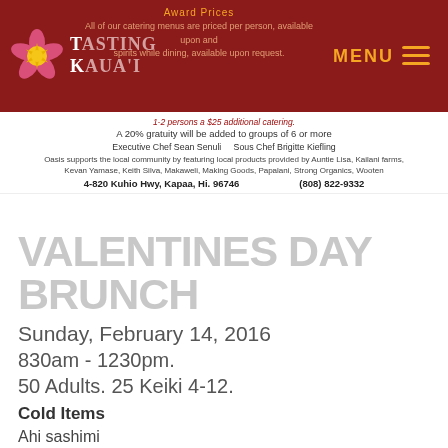[Figure (logo): Tasting Kauai logo with hibiscus flower on dark red header bar]
Award Prices
All of our catering menus are priced per person, available upon request. wine and spirits while dining, available upon request.
1-2 persons a $25 additional catering.
A 20% gratuity will be added to groups of 6 or more
Executive Chef Sean Senuli   Sous Chef Brigitte Kiefling
Oasis supports the local community by featuring local products provided by Auntie Lisa, Kailani farms, Kevan Yamase, Keith Silva, Makaweli, Making Goods, Papalani, Strong Organics, Wooten
4-820 Kuhio Hwy, Kapaa, Hi. 96746    (808) 822-9332
VALENTINES DAY BRUNCH
Sunday, February 14, 2016
830am - 1230pm.
50 Adults. 25 Keiki 4-12.
Cold Items
Ahi sashimi
Ahi poke
Maki sushi
Poached shrimp
Antipasti bar
Kailani greens